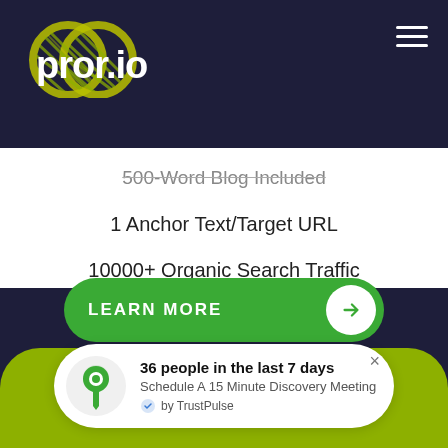[Figure (logo): pror.io logo in dark navy header bar with hamburger menu icon]
500-Word Blog Included (strikethrough)
1 Anchor Text/Target URL
10000+ Organic Search Traffic
21-Day Delivery
100% Money-Back Guarantee
LEARN MORE
DA 60 (ENTERPRISE TIER)
36 people in the last 7 days
Schedule A 15 Minute Discovery Meeting
by TrustPulse